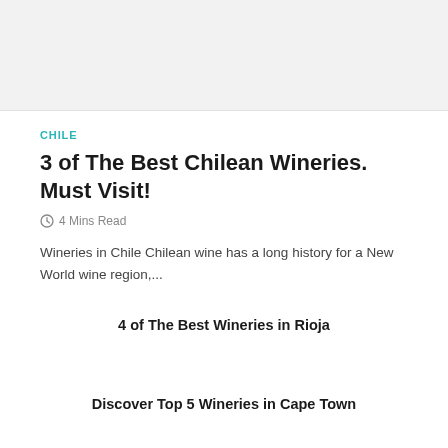[Figure (photo): Top image area placeholder (article header image)]
CHILE
3 of The Best Chilean Wineries. Must Visit!
4 Mins Read
Wineries in Chile Chilean wine has a long history for a New World wine region,...
4 of The Best Wineries in Rioja
Discover Top 5 Wineries in Cape Town
Top 5 wineries in Montalcino!